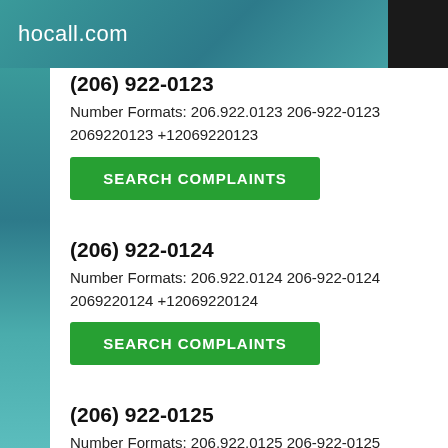hocall.com
(206) 922-0123
Number Formats: 206.922.0123 206-922-0123 2069220123 +12069220123
SEARCH COMPLAINTS
(206) 922-0124
Number Formats: 206.922.0124 206-922-0124 2069220124 +12069220124
SEARCH COMPLAINTS
(206) 922-0125
Number Formats: 206.922.0125 206-922-0125 2069220125 +12069220125
SEARCH COMPLAINTS
(206) 922-0126